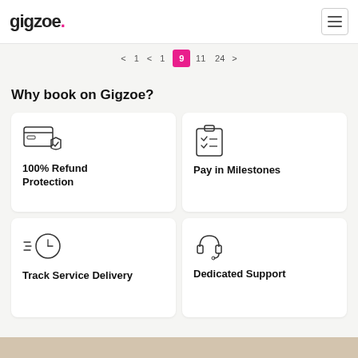gigzoe.
< 1 < 9 11 24 >
Why book on Gigzoe?
[Figure (illustration): Credit card with shield icon representing 100% Refund Protection]
100% Refund Protection
[Figure (illustration): Clipboard with checklist icon representing Pay in Milestones]
Pay in Milestones
[Figure (illustration): Clock with speed lines icon representing Track Service Delivery]
Track Service Delivery
[Figure (illustration): Headset icon representing Dedicated Support]
Dedicated Support